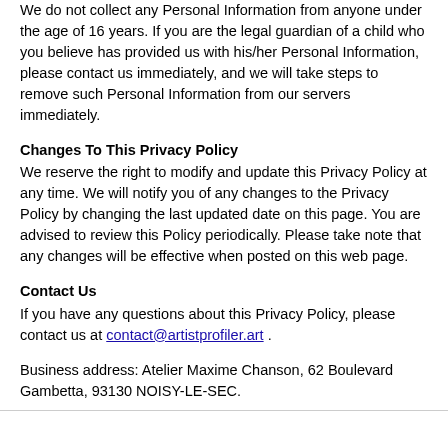We do not collect any Personal Information from anyone under the age of 16 years. If you are the legal guardian of a child who you believe has provided us with his/her Personal Information, please contact us immediately, and we will take steps to remove such Personal Information from our servers immediately.
Changes To This Privacy Policy
We reserve the right to modify and update this Privacy Policy at any time. We will notify you of any changes to the Privacy Policy by changing the last updated date on this page. You are advised to review this Policy periodically. Please take note that any changes will be effective when posted on this web page.
Contact Us
If you have any questions about this Privacy Policy, please contact us at contact@artistprofiler.art .
Business address: Atelier Maxime Chanson, 62 Boulevard Gambetta, 93130 NOISY-LE-SEC.